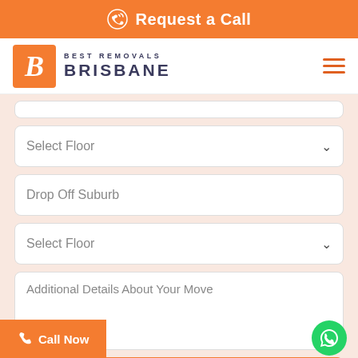Request a Call
[Figure (logo): Best Removals Brisbane logo with orange B box and text]
Select Floor
Drop Off Suburb
Select Floor
Additional Details About Your Move
Get A Quote
Call Now